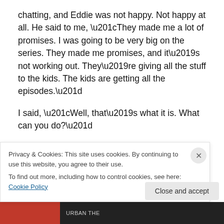chatting, and Eddie was not happy.  Not happy at all.  He said to me, “They made me a lot of promises.  I was going to be very big on the series.  They made me promises, and it’s not working out.  They’re giving all the stuff to the kids.  The kids are getting all the episodes.”

I said, “Well, that’s what it is.  What can you do?”

He said, “I don’t know.  I don’t know, but I’m not happy.”

Anyway, one afternoon, we were shooting a scene.  A man named Marc Daniels was directing.  A family scene, sitting
Privacy & Cookies: This site uses cookies. By continuing to use this website, you agree to their use.
To find out more, including how to control cookies, see here: Cookie Policy